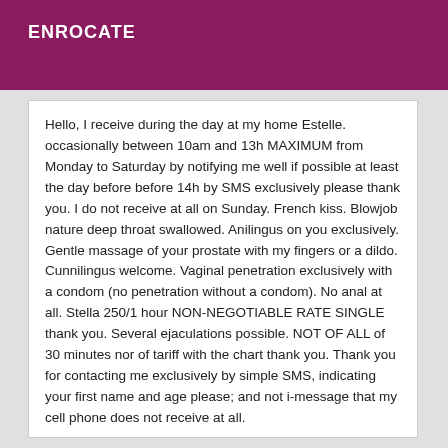ENROCATE
Hello, I receive during the day at my home Estelle. occasionally between 10am and 13h MAXIMUM from Monday to Saturday by notifying me well if possible at least the day before before 14h by SMS exclusively please thank you. I do not receive at all on Sunday. French kiss. Blowjob nature deep throat swallowed. Anilingus on you exclusively. Gentle massage of your prostate with my fingers or a dildo. Cunnilingus welcome. Vaginal penetration exclusively with a condom (no penetration without a condom). No anal at all. Stella 250/1 hour NON-NEGOTIABLE RATE SINGLE thank you. Several ejaculations possible. NOT OF ALL of 30 minutes nor of tariff with the chart thank you. Thank you for contacting me exclusively by simple SMS, indicating your first name and age please; and not i-message that my cell phone does not receive at all.